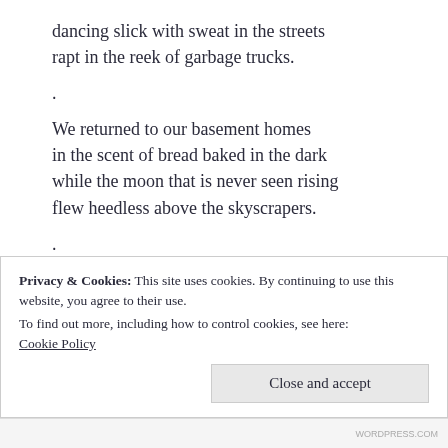dancing slick with sweat in the streets
rapt in the reek of garbage trucks.
.
We returned to our basement homes
in the scent of bread baked in the dark
while the moon that is never seen rising
flew heedless above the skyscrapers.
.
Untroubled in our blue-music nights
we slept through our heydays in the bloom
of twirling dreams and woke
to the ozone of a hot pavement hosed down.
.
Privacy & Cookies: This site uses cookies. By continuing to use this website, you agree to their use.
To find out more, including how to control cookies, see here:
Cookie Policy
Close and accept
WORDPRESS.COM